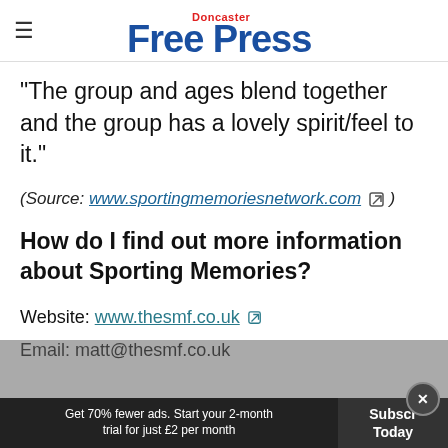Doncaster Free Press
“The group and ages blend together and the group has a lovely spirit/feel to it.”
(Source: www.sportingmemoriesnetwork.com )
How do I find out more information about Sporting Memories?
Website: www.thesmf.co.uk
Email: matt@thesmf.co.uk